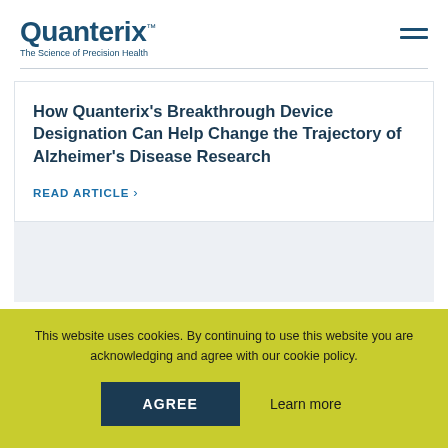Quanterix — The Science of Precision Health
How Quanterix’s Breakthrough Device Designation Can Help Change the Trajectory of Alzheimer’s Disease Research
READ ARTICLE ›
This website uses cookies. By continuing to use this website you are acknowledging and agree with our cookie policy.
AGREE
Learn more